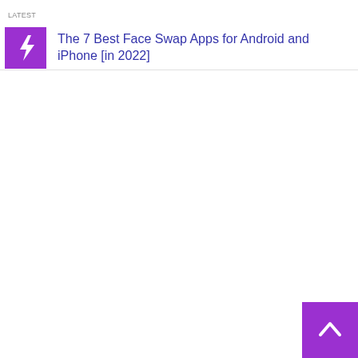The 7 Best Face Swap Apps for Android and iPhone [in 2022]